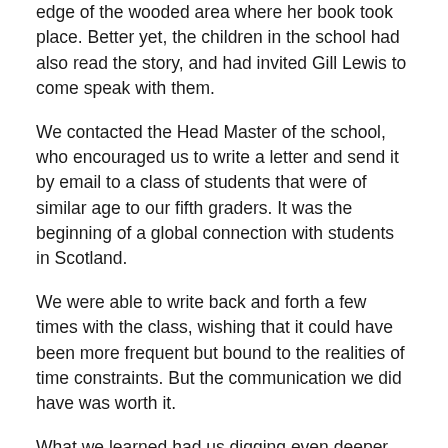edge of the wooded area where her book took place. Better yet, the children in the school had also read the story, and had invited Gill Lewis to come speak with them.
We contacted the Head Master of the school, who encouraged us to write a letter and send it by email to a class of students that were of similar age to our fifth graders. It was the beginning of a global connection with students in Scotland.
We were able to write back and forth a few times with the class, wishing that it could have been more frequent but bound to the realities of time constraints. But the communication we did have was worth it.
What we learned had us digging even deeper into learning new vocabulary, as they told us that one of their favorite sports in school was shinty, and that they were learning to play chanter and tin whistle in music class. They shared some things with us about their school day, and we noted differences like the choice they had to either go home for lunch or stay at school and eat in the canteen, their requirement to wear a uniform, and their multi-stage classes that would seem a necessity in a school with a